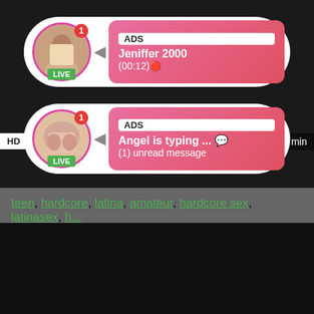[Figure (screenshot): Ad card 1: LIVE avatar of Jeniffer 2000 with ADS label, name and time (00:12)]
[Figure (screenshot): Ad card 2: LIVE avatar of Angel with ADS label, 'Angel is typing ...' and '(1) unread message']
teen, hardcore, latina, amateur, hardcore sex, latinasex, h...
[Figure (photo): Black video player area]